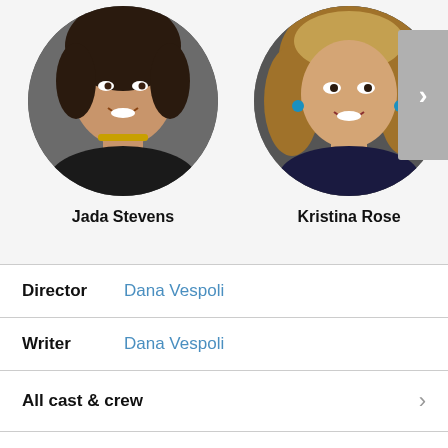[Figure (photo): Circular profile photo of Jada Stevens, a woman with dark hair wearing a black outfit and gold necklace]
Jada Stevens
[Figure (photo): Circular profile photo of Kristina Rose, a woman with curly blonde/brown hair]
Kristina Rose
Director  Dana Vespoli
Writer  Dana Vespoli
All cast & crew
Production, box office & more at IMDbPro